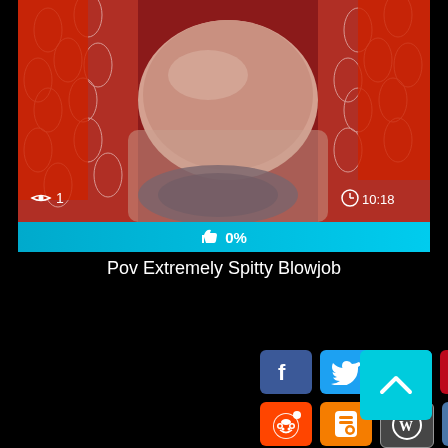[Figure (screenshot): Video thumbnail showing adult content with view count '1' and duration '10:18']
0%
Pov Extremely Spitty Blowjob
[Figure (infographic): Social share buttons: Facebook, Twitter, Email, Pinterest, Tumblr, Reddit, Blogger, WordPress, VK, More]